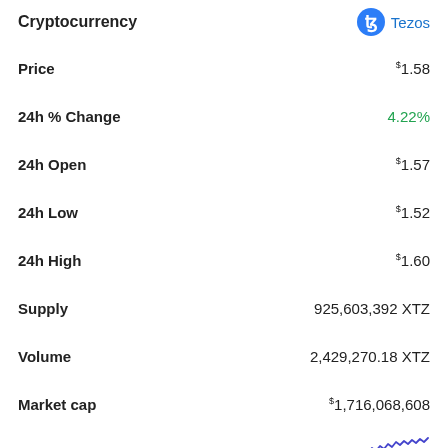| Field | Value |
| --- | --- |
| Cryptocurrency | Tezos |
| Price | $1.58 |
| 24h % Change | 4.22% |
| 24h Open | $1.57 |
| 24h Low | $1.52 |
| 24h High | $1.60 |
| Supply | 925,603,392 XTZ |
| Volume | 2,429,270.18 XTZ |
| Market cap | $1,716,068,608 |
| 24h Performance | (sparkline chart) |
[Figure (line-chart): Small sparkline showing upward trending price performance over 24 hours]
Cryptocurrency  Gnosis